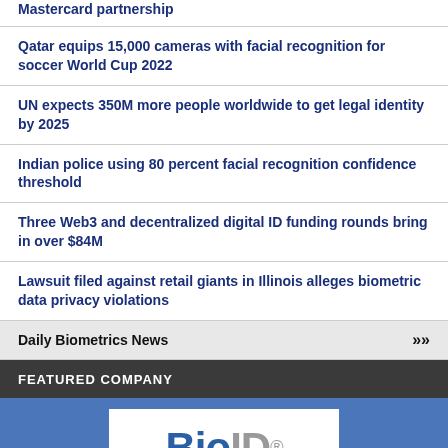Mastercard partnership
Qatar equips 15,000 cameras with facial recognition for soccer World Cup 2022
UN expects 350M more people worldwide to get legal identity by 2025
Indian police using 80 percent facial recognition confidence threshold
Three Web3 and decentralized digital ID funding rounds bring in over $84M
Lawsuit filed against retail giants in Illinois alleges biometric data privacy violations
Daily Biometrics News >>>
FEATURED COMPANY
[Figure (logo): BioID logo in white box on blue background]